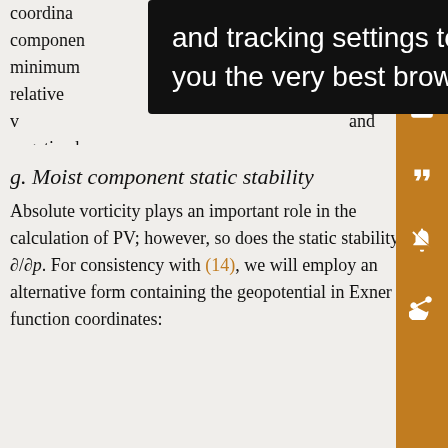coordinate ... component ... minimum ... relative v... and negative b...
[Figure (screenshot): Black tooltip overlay with white text reading: 'and tracking settings to store information that help give you the very best browsing experience.']
g. Moist component static stability
Absolute vorticity plays an important role in the calculation of PV; however, so does the static stability ∂/∂p. For consistency with (14), we will employ an alternative form containing the geopotential in Exner function coordinates: